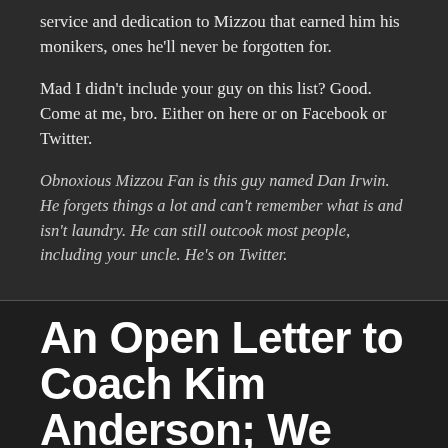service and dedication to Mizzou that earned him his monikers, ones he'll never be forgotten for.
Mad I didn't include your guy on this list? Good. Come at me, bro. Either on here or on Facebook or Twitter.
Obnoxious Mizzou Fan is this guy named Dan Irwin. He forgets things a lot and can't remember what is and isn't laundry. He can still outcook most people, including your uncle. He's on Twitter.
An Open Letter to Coach Kim Anderson; We Believe in You